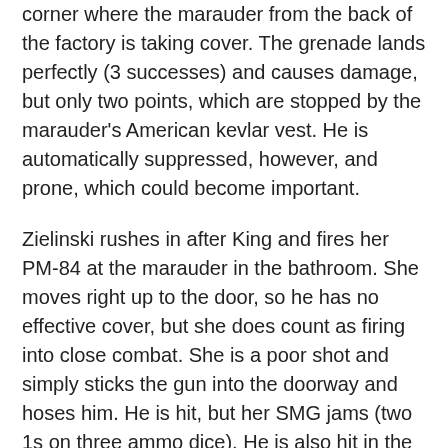corner where the marauder from the back of the factory is taking cover. The grenade lands perfectly (3 successes) and causes damage, but only two points, which are stopped by the marauder's American kevlar vest. He is automatically suppressed, however, and prone, which could become important.
Zielinski rushes in after King and fires her PM-84 at the marauder in the bathroom. She moves right up to the door, so he has no effective cover, but she does count as firing into close combat. She is a poor shot and simply sticks the gun into the doorway and hoses him. He is hit, but her SMG jams (two 1s on three ammo dice). He is also hit in the torso, and wearing kevlar, which means that the underpowered PM-84 is unable to penetrate. He is also suppressed, though.